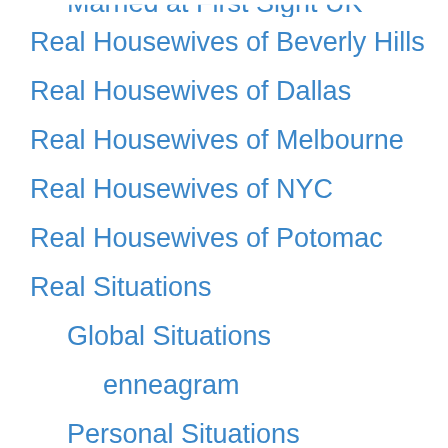Married at First Sight UK
Real Housewives of Beverly Hills
Real Housewives of Dallas
Real Housewives of Melbourne
Real Housewives of NYC
Real Housewives of Potomac
Real Situations
Global Situations
enneagram
Personal Situations
United States Situations
Reality News
Reality show bios
Bachelor Bachelorette Bios